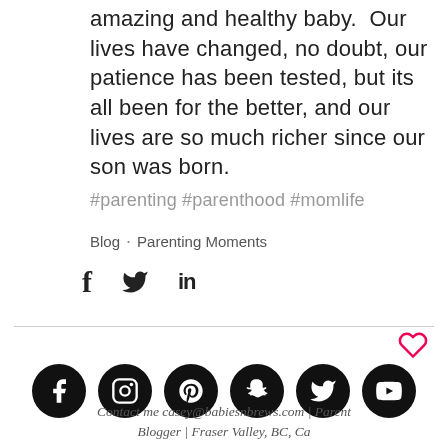amazing and healthy baby.  Our lives have changed, no doubt, our patience has been tested, but its all been for the better, and our lives are so much richer since our son was born.
#parenting #parenthood #momlife
Blog  •  Parenting Moments
[Figure (infographic): Social share icons: Facebook (f), Twitter (bird), LinkedIn (in)]
[Figure (infographic): Row of six black circular social media icons: Facebook, Instagram, Pinterest, Snapchat, Twitter, YouTube]
Contact me casey@babiesnbrews.com | Parent Blogger | Fraser Valley, BC, Ca